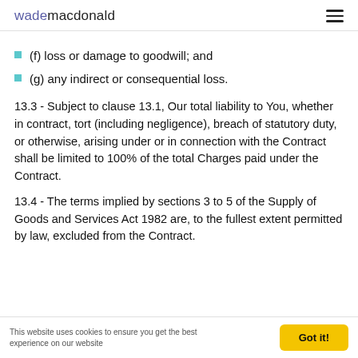wade macdonald
(f) loss or damage to goodwill; and
(g) any indirect or consequential loss.
13.3 - Subject to clause 13.1, Our total liability to You, whether in contract, tort (including negligence), breach of statutory duty, or otherwise, arising under or in connection with the Contract shall be limited to 100% of the total Charges paid under the Contract.
13.4 - The terms implied by sections 3 to 5 of the Supply of Goods and Services Act 1982 are, to the fullest extent permitted by law, excluded from the Contract.
This website uses cookies to ensure you get the best experience on our website